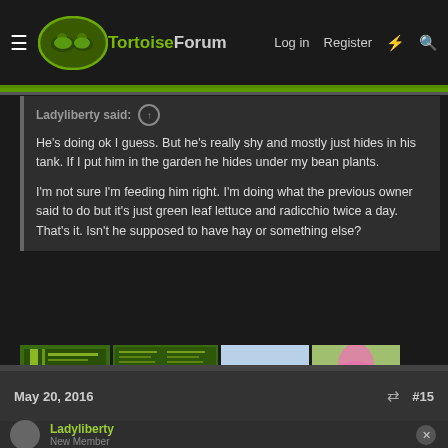TortoiseForum — Log in  Register
Ladyliberty said: ↑

He's doing ok I guess. But he's really shy and mostly just hides in his tank. If I put him in the garden he hides under my bean plants.

I'm not sure I'm feeding him right. I'm doing what the previous owner said to do but it's just green leaf lettuce and radicchio twice a day. That's it. Isn't he supposed to have hay or something else?
[Figure (photo): Four thumbnail images: a green plant list document, a cactus in a pot, and a pink hibiscus flower]
May 20, 2016  #15
Ladyliberty
New Member